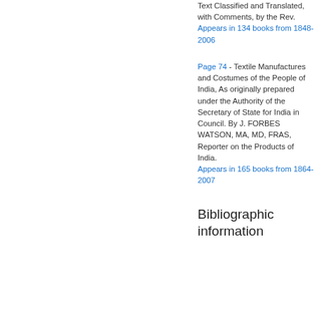Text Classified and Translated, with Comments, by the Rev.
Appears in 134 books from 1848-2006
Page 74 - Textile Manufactures and Costumes of the People of India, As originally prepared under the Authority of the Secretary of State for India in Council. By J. FORBES WATSON, MA, MD, FRAS, Reporter on the Products of India.
Appears in 165 books from 1864-2007
Bibliographic information